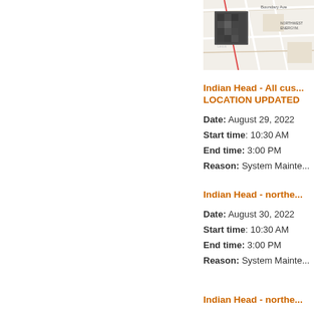[Figure (map): Partial map screenshot showing street map with a small satellite thumbnail inset, partially cropped at right edge]
Indian Head - All cus... LOCATION UPDATED
Date: August 29, 2022
Start time: 10:30 AM
End time: 3:00 PM
Reason: System Mainte...
Indian Head - northe...
Date: August 30, 2022
Start time: 10:30 AM
End time: 3:00 PM
Reason: System Mainte...
Indian Head - northe...